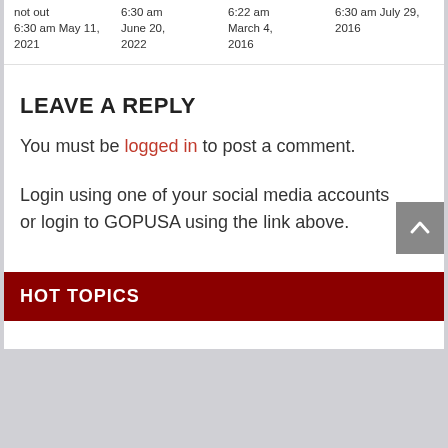not out
6:30 am May 11, 2021
6:30 am June 20, 2022
6:22 am March 4, 2016
6:30 am July 29, 2016
LEAVE A REPLY
You must be logged in to post a comment.
Login using one of your social media accounts or login to GOPUSA using the link above.
HOT TOPICS